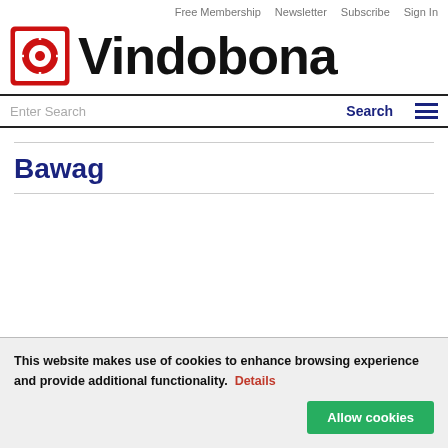Free Membership   Newsletter   Subscribe   Sign In
[Figure (logo): Vindobona logo: red square with white circle and red dot in center, followed by bold black text 'Vindobona']
Enter Search   Search   [menu]
Bawag
This website makes use of cookies to enhance browsing experience and provide additional functionality.  Details
Allow cookies